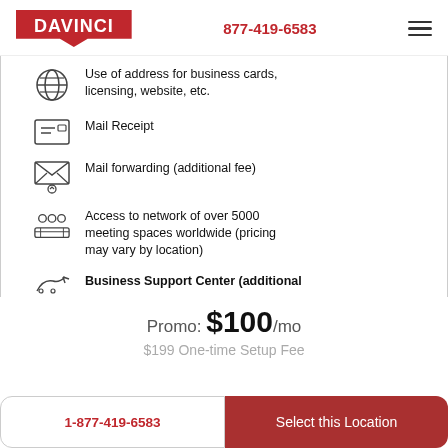DAVINCI  877-419-6583
Use of address for business cards, licensing, website, etc.
Mail Receipt
Mail forwarding (additional fee)
Access to network of over 5000 meeting spaces worldwide (pricing may vary by location)
Business Support Center (additional
Promo: $100/mo
$199 One-time Setup Fee
1-877-419-6583
Select this Location